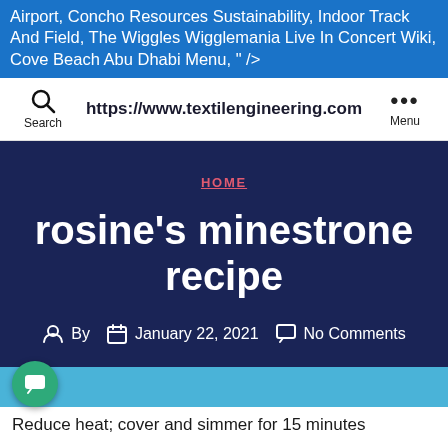Airport, Concho Resources Sustainability, Indoor Track And Field, The Wiggles Wigglemania Live In Concert Wiki, Cove Beach Abu Dhabi Menu, " />
https://www.textilengineering.com
Search
Menu
HOME
rosine's minestrone recipe
By  January 22, 2021  No Comments
Reduce heat; cover and simmer for 15 minutes